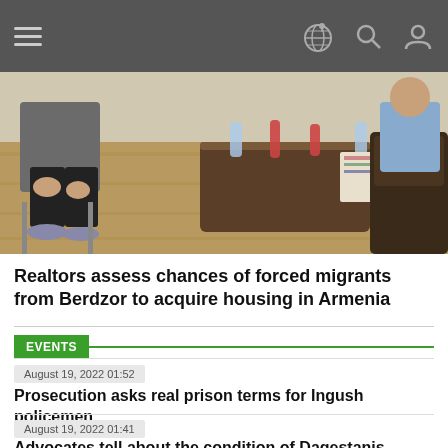Navigation bar with hamburger menu, globe icon, search icon, user icon
[Figure (photo): People sitting in a cafe or meeting room; a person in black leggings seated on a metal chair on left, table with bottles and cups in center, dark sofa on right, wooden floor]
Realtors assess chances of forced migrants from Berdzor to acquire housing in Armenia
EVENTS
August 19, 2022 01:52
Prosecution asks real prison terms for Ingush policemen
August 19, 2022 01:41
Advocates tell about the condition of Dagestanis beaten up in Kalmyk colony